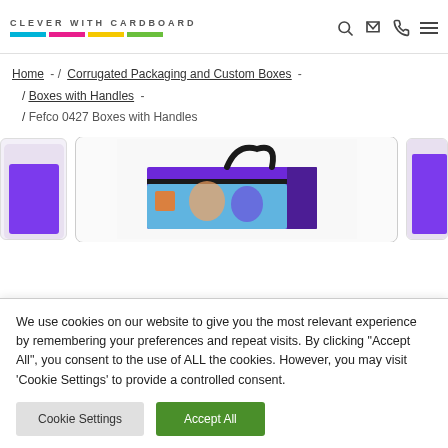CLEVER WITH CARDBOARD [logo with colored bars] [search, mail, phone, menu icons]
Home - / Corrugated Packaging and Custom Boxes - / Boxes with Handles - / Fefco 0427 Boxes with Handles
[Figure (photo): Product carousel showing a purple cardboard box with a black handle, partially visible product images on left and right sides]
We use cookies on our website to give you the most relevant experience by remembering your preferences and repeat visits. By clicking "Accept All", you consent to the use of ALL the cookies. However, you may visit 'Cookie Settings' to provide a controlled consent.
Cookie Settings | Accept All